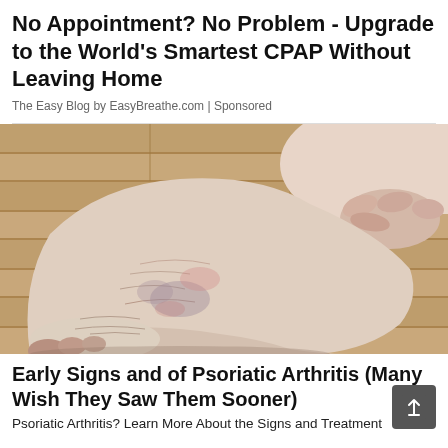No Appointment? No Problem - Upgrade to the World's Smartest CPAP Without Leaving Home
The Easy Blog by EasyBreathe.com | Sponsored
[Figure (photo): Close-up photograph of a person's foot and ankle being held, showing dry, scaly, discolored skin characteristic of psoriatic arthritis, resting on a wooden floor.]
Early Signs and of Psoriatic Arthritis (Many Wish They Saw Them Sooner)
Psoriatic Arthritis? Learn More About the Signs and Treatment